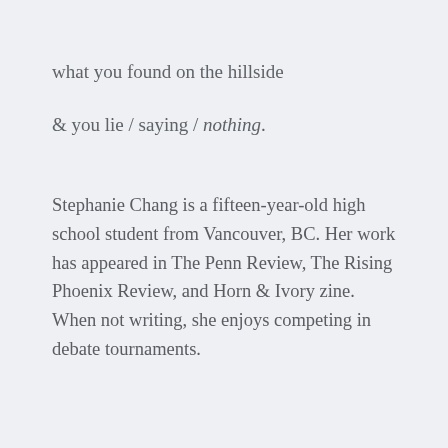what you found on the hillside
& you lie / saying / nothing.
Stephanie Chang is a fifteen-year-old high school student from Vancouver, BC. Her work has appeared in The Penn Review, The Rising Phoenix Review, and Horn & Ivory zine. When not writing, she enjoys competing in debate tournaments.